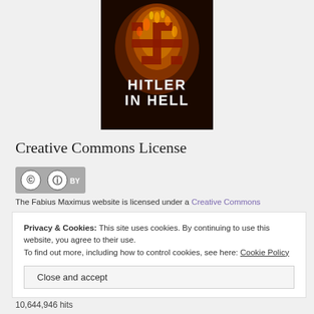[Figure (photo): Book cover for 'Hitler in Hell' showing a flaming swastika symbol above the title text 'HITLER IN HELL' on a dark background]
Creative Commons License
[Figure (logo): Creative Commons BY license badge showing CC and person icons with 'BY' text]
The Fabius Maximus website is licensed under a Creative Commons
Privacy & Cookies: This site uses cookies. By continuing to use this website, you agree to their use.
To find out more, including how to control cookies, see here: Cookie Policy
Close and accept
10,644,946 hits